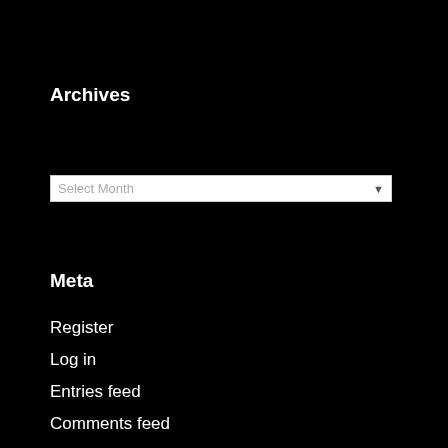Archives
Select Month
Meta
Register
Log in
Entries feed
Comments feed
WordPress.com
Translate
Select Language
Powered by Google Translate